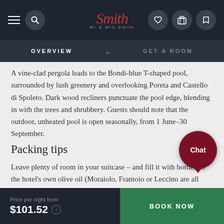[Figure (screenshot): Mr & Mrs Smith hotel booking website navigation bar with hamburger menu, search icon, logo, phone, heart, and luggage icons]
OVERVIEW    GET A ROOM
A vine-clad pergola leads to the Bondi-blue T-shaped pool, surrounded by lush greenery and overlooking Poreta and Castello di Spoleto. Dark wood recliners punctuate the pool edge, blending in with the trees and shrubbery. Guests should note that the outdoor, unheated pool is open seasonally, from 1 June–30 September.
Packing tips
Leave plenty of room in your suitcase – and fill it with bottles of the hotel's own olive oil (Moraiolo, Frantoio or Leccino are all luscious blends), squeezed from the plump olives dangling in the gar...
Price per night from $101.52    BOOK NOW